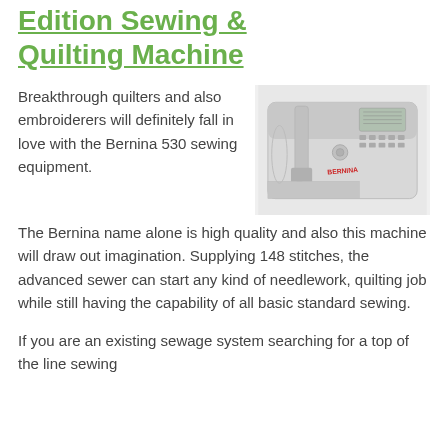Edition Sewing & Quilting Machine
[Figure (photo): A white Bernina 530 computerized sewing and quilting machine photographed from the front-right angle against a white background, showing the control panel, needle area, and the BERNINA brand logo in red.]
Breakthrough quilters and also embroiderers will definitely fall in love with the Bernina 530 sewing equipment.
The Bernina name alone is high quality and also this machine will draw out imagination. Supplying 148 stitches, the advanced sewer can start any kind of needlework, quilting job while still having the capability of all basic standard sewing.
If you are an existing sewage system searching for a top of the line sewing